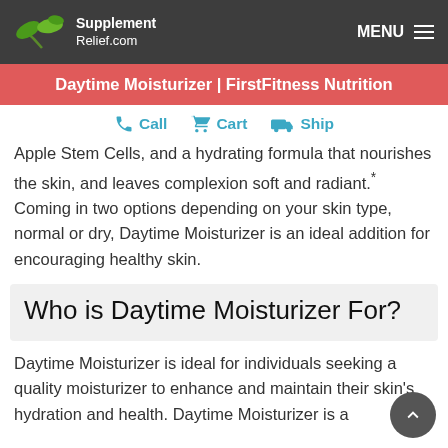Supplement Relief.com  MENU
Daytime Moisturizer | FirstFitness Nutrition
Call  Cart  Ship
Apple Stem Cells, and a hydrating formula that nourishes the skin, and leaves complexion soft and radiant.* Coming in two options depending on your skin type, normal or dry, Daytime Moisturizer is an ideal addition for encouraging healthy skin.
Who is Daytime Moisturizer For?
Daytime Moisturizer is ideal for individuals seeking a quality moisturizer to enhance and maintain their skin's hydration and health. Daytime Moisturizer is a